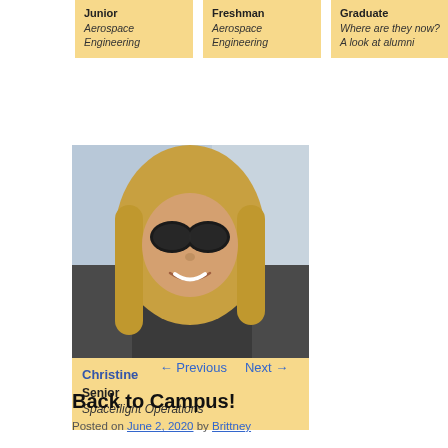[Figure (infographic): Card for Junior, Aerospace Engineering]
[Figure (infographic): Card for Freshman, Aerospace Engineering]
[Figure (infographic): Card for Graduate: Where are they now? A look at alumni]
[Figure (photo): Photo of Christine, a smiling woman with blonde hair and sunglasses, sitting in a car]
Christine
Senior
Spaceflight Operations
← Previous   Next →
Back to Campus!
Posted on June 2, 2020 by Brittney